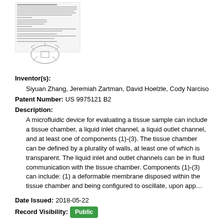[Figure (screenshot): Thumbnail image of a patent document page showing text and a mechanical/microfluidic device diagram illustration]
Inventor(s): Siyuan Zhang, Jeremiah Zartman, David Hoelzle, Cody Narciso
Patent Number: US 9975121 B2
Description:
A microfluidic device for evaluating a tissue sample can include a tissue chamber, a liquid inlet channel, a liquid outlet channel, and at least one of components (1)-(3). The tissue chamber can be defined by a plurality of walls, at least one of which is transparent. The liquid inlet and outlet channels can be in fluid communication with the tissue chamber. Components (1)-(3) can include: (1) a deformable membrane disposed within the tissue chamber and being configured to oscillate, upon app…
Date Issued: 2018-05-22
Record Visibility: Public